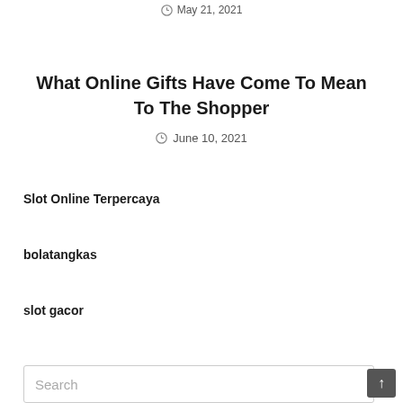May 21, 2021
What Online Gifts Have Come To Mean To The Shopper
June 10, 2021
Slot Online Terpercaya
bolatangkas
slot gacor
Search